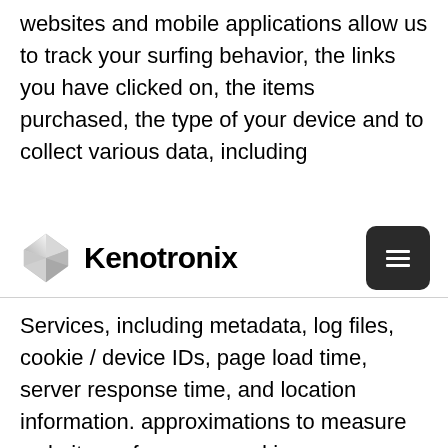websites and mobile applications allow us to track your surfing behavior, the links you have clicked on, the items purchased, the type of your device and to collect various data, including
[Figure (logo): Kenotronix logo: a grey 3D diamond/crystal shape followed by the text 'Kenotronix' in bold]
Services, including metadata, log files, cookie / device IDs, page load time, server response time, and location information. approximations to measure website performance and improve our systems, including optimizing DNS resolution, network routing, and server configurations. Specifically, interactions with features, content and links (including those of third parties, such as social media plugins) contained in the Services, Internet Protocol (IP) address, type and settings of browser, date and time of use of the Services, information on